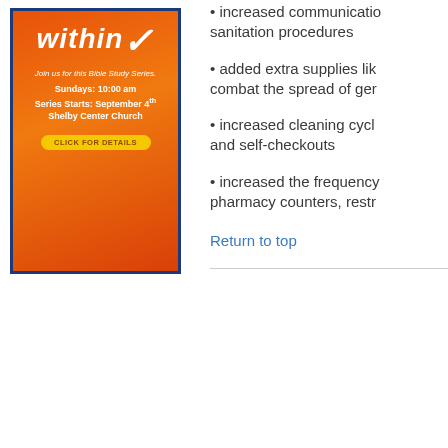[Figure (illustration): Advertisement for Bible Study Series - orange/red background with 'within' text, Join us for this Bible Study Series, Sundays: 10:00 am, Series Starts: September 4th, Shelby Center Church, CLICK FOR DETAILS button]
• increased communication sanitation procedures
• added extra supplies like combat the spread of ger
• increased cleaning cycle and self-checkouts
• increased the frequency pharmacy counters, restr
Return to top